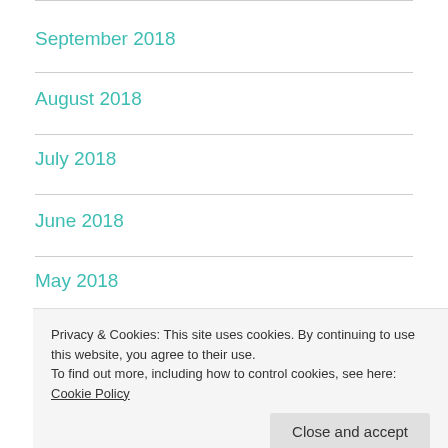September 2018
August 2018
July 2018
June 2018
May 2018
April 2018
Privacy & Cookies: This site uses cookies. By continuing to use this website, you agree to their use.
To find out more, including how to control cookies, see here: Cookie Policy
Close and accept